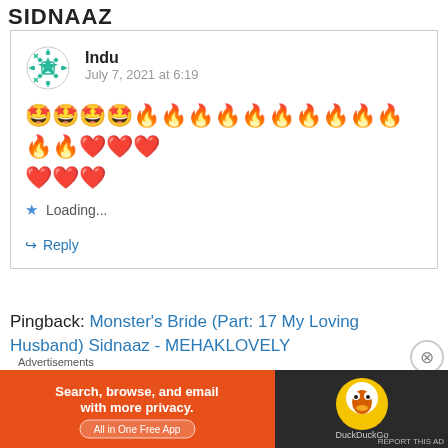SIDNAAZ
Indu
July 7, 2021 at 6:19
🤩🤩🤩🤩🔥🔥🔥🔥🔥🔥🔥🔥🔥🔥🔥🔥❤️❤️❤️❤️❤️❤️
Loading...
↪ Reply
Pingback:  Monster's Bride (Part: 17 My Loving Husband) Sidnaaz - MEHAKLOVELY
Advertisements